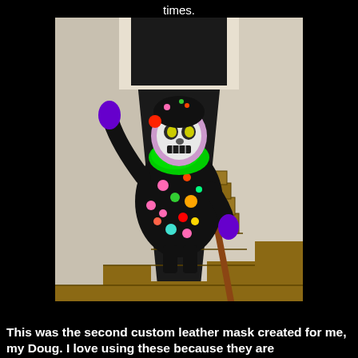times.
[Figure (photo): A person in a scary clown costume with a skull mask, bright green ruffled collar, black polka-dot jumpsuit with colorful spots, purple gloves, standing on wooden stairs coming down toward the camera, one arm raised.]
This was the second custom leather mask created for me, my Doug. I love using these because they are